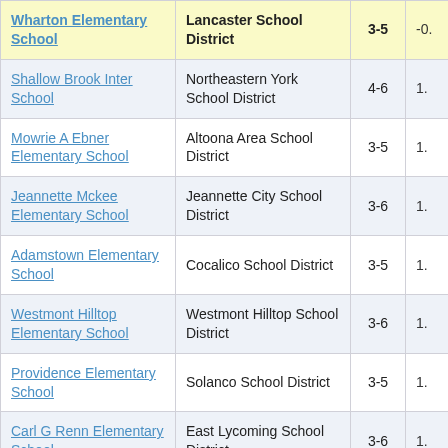| School | District | Grades | Score |
| --- | --- | --- | --- |
| Wharton Elementary School | Lancaster School District | 3-5 | -0. |
| Shallow Brook Inter School | Northeastern York School District | 4-6 | 1. |
| Mowrie A Ebner Elementary School | Altoona Area School District | 3-5 | 1. |
| Jeannette Mckee Elementary School | Jeannette City School District | 3-6 | 1. |
| Adamstown Elementary School | Cocalico School District | 3-5 | 1. |
| Westmont Hilltop Elementary School | Westmont Hilltop School District | 3-6 | 1. |
| Providence Elementary School | Solanco School District | 3-5 | 1. |
| Carl G Renn Elementary School | East Lycoming School District | 3-6 | 1. |